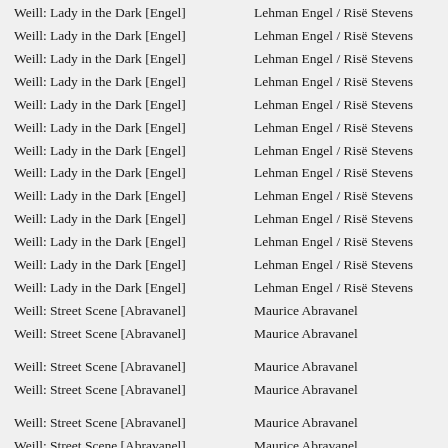Weill: Lady in the Dark [Engel] | Lehman Engel / Risë Stevens
Weill: Lady in the Dark [Engel] | Lehman Engel / Risë Stevens
Weill: Lady in the Dark [Engel] | Lehman Engel / Risë Stevens
Weill: Lady in the Dark [Engel] | Lehman Engel / Risë Stevens
Weill: Lady in the Dark [Engel] | Lehman Engel / Risë Stevens
Weill: Lady in the Dark [Engel] | Lehman Engel / Risë Stevens
Weill: Lady in the Dark [Engel] | Lehman Engel / Risë Stevens
Weill: Lady in the Dark [Engel] | Lehman Engel / Risë Stevens
Weill: Lady in the Dark [Engel] | Lehman Engel / Risë Stevens
Weill: Lady in the Dark [Engel] | Lehman Engel / Risë Stevens
Weill: Lady in the Dark [Engel] | Lehman Engel / Risë Stevens
Weill: Lady in the Dark [Engel] | Lehman Engel / Risë Stevens
Weill: Lady in the Dark [Engel] | Lehman Engel / Risë Stevens
Weill: Street Scene [Abravanel] | Maurice Abravanel
Weill: Street Scene [Abravanel] | Maurice Abravanel
Weill: Street Scene [Abravanel] | Maurice Abravanel
Weill: Street Scene [Abravanel] | Maurice Abravanel
Weill: Street Scene [Abravanel] | Maurice Abravanel
Weill: Street Scene [Abravanel] | Maurice Abravanel